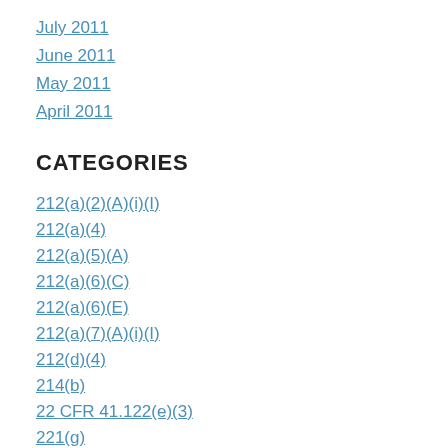July 2011
June 2011
May 2011
April 2011
CATEGORIES
212(a)(2)(A)(i)(I)
212(a)(4)
212(a)(5)(A)
212(a)(6)(C)
212(a)(6)(E)
212(a)(7)(A)(i)(I)
212(d)(4)
214(b)
22 CFR 41.122(e)(3)
221(g)
222(g)
2nd Passport